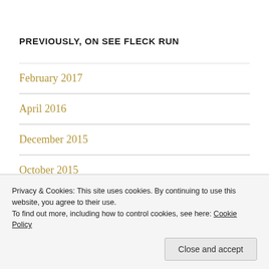PREVIOUSLY, ON SEE FLECK RUN
February 2017
April 2016
December 2015
October 2015
Privacy & Cookies: This site uses cookies. By continuing to use this website, you agree to their use.
To find out more, including how to control cookies, see here: Cookie Policy
Close and accept